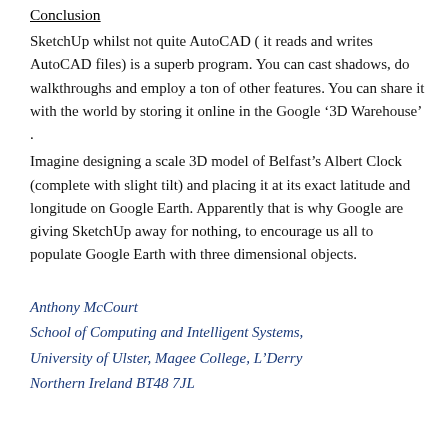Conclusion
SketchUp whilst not quite AutoCAD ( it reads and writes AutoCAD files) is a superb program. You can cast shadows, do walkthroughs and employ a ton of other features. You can share it with the world by storing it online in the Google ‘3D Warehouse’ .
Imagine designing a scale 3D model of Belfast’s Albert Clock (complete with slight tilt) and placing it at its exact latitude and longitude on Google Earth. Apparently that is why Google are giving SketchUp away for nothing, to encourage us all to populate Google Earth with three dimensional objects.
Anthony McCourt
School of Computing and Intelligent Systems,
University of Ulster, Magee College, L’Derry
Northern Ireland BT48 7JL